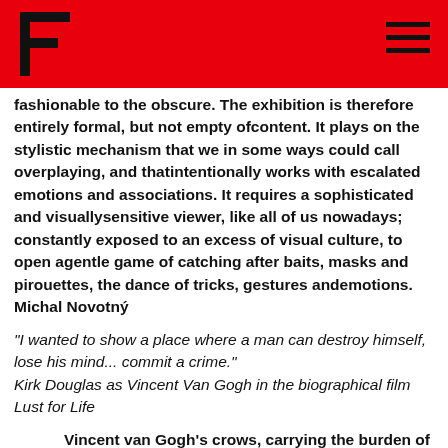fashionable to the obscure. The exhibition is therefore entirely formal, but not empty ofcontent. It plays on the stylistic mechanism that we in some ways could call overplaying, and thatintentionally works with escalated emotions and associations. It requires a sophisticated and visuallysensitive viewer, like all of us nowadays; constantly exposed to an excess of visual culture, to open agentle game of catching after baits, masks and pirouettes, the dance of tricks, gestures andemotions.
Michal Novotný
“I wanted to show a place where a man can destroy himself, lose his mind... commit a crime.”
Kirk Douglas as Vincent Van Gogh in the biographical film Lust for Life
Vincent van Gogh’s crows, carrying the burden of the myth of pre-mortal fatality, become a walldecor making the walls of the room transparent and bringing them closer to the row of windows onthe other side. The opposite position of the windows and the drawings provides the charcoal birdshadows with the ability to portray the omnipresent sticker scarecrows whose purpose is to scareaway birds,